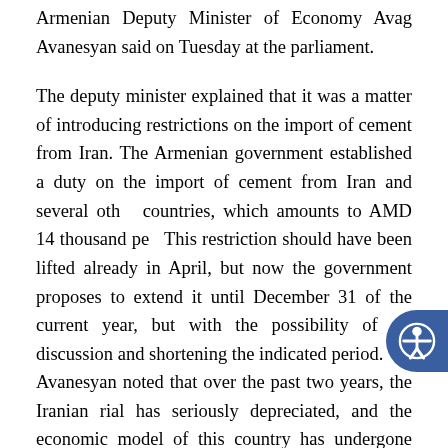Armenian Deputy Minister of Economy Avag Avanesyan said on Tuesday at the parliament.
The deputy minister explained that it was a matter of introducing restrictions on the import of cement from Iran. The Armenian government established a duty on the import of cement from Iran and several other countries, which amounts to AMD 14 thousand per. This restriction should have been lifted already in April, but now the government proposes to extend it until December 31 of the current year, but with the possibility of re-discussion and shortening the indicated period.
Avanesyan noted that over the past two years, the Iranian rial has seriously depreciated, and the economic model of this country has undergone significant changes, which led to a drop in the cost of